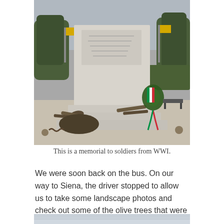[Figure (photo): A WWI memorial monument made of light-colored stone with inscriptions, steps leading up to it, bronze cannons at the base, and a wreath with Italian flag colors (green, white, red) leaning against it. Trees and hedges visible in the background.]
This is a memorial to soldiers from WWI.
We were soon back on the bus. On our way to Siena, the driver stopped to allow us to take some landscape photos and check out some of the olive trees that were almost ready for harvest.
[Figure (photo): Partial view of a landscape photo, showing sky and terrain, cropped at the bottom of the page.]